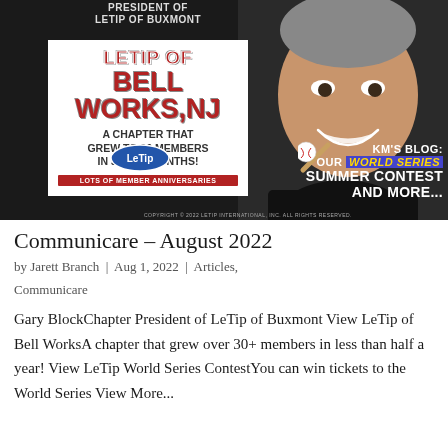[Figure (illustration): LeTip newsletter banner image showing a smiling man in a black shirt, an inset white panel with 'LeTip of Bell Works, NJ - A chapter that grew to 36 members in just 5 months!', a baseball and bat graphic, and overlay text reading 'KM's Blog: Our World Series Summer Contest and More...' with the LeTip oval logo. Top partially visible text reads 'President of LeTip of Buxmont'. Copyright notice at bottom: Copyright 2022 LeTip International, Inc. All Rights Reserved.]
Communicare – August 2022
by Jarett Branch | Aug 1, 2022 | Articles, Communicare
Gary BlockChapter President of LeTip of Buxmont View LeTip of Bell WorksA chapter that grew over 30+ members in less than half a year! View LeTip World Series ContestYou can win tickets to the World Series View More...